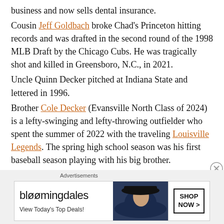business and now sells dental insurance.
Cousin Jeff Goldbach broke Chad’s Princeton hitting records and was drafted in the second round of the 1998 MLB Draft by the Chicago Cubs. He was tragically shot and killed in Greensboro, N.C., in 2021.
Uncle Quinn Decker pitched at Indiana State and lettered in 1996.
Brother Cole Decker (Evansville North Class of 2024) is a lefty-swinging and lefty-throwing outfielder who spent the summer of 2022 with the traveling Louisville Legends. The spring high school season was his first baseball season playing with his big brother.
“We’re a very tight family,” says Cameron. “But summers are usually split with mom and dad trading off (to followed one brother or the other).”
[Figure (other): Bloomingdales advertisement banner with logo, 'View Today's Top Deals!' text, woman in hat image, and 'SHOP NOW >' button]